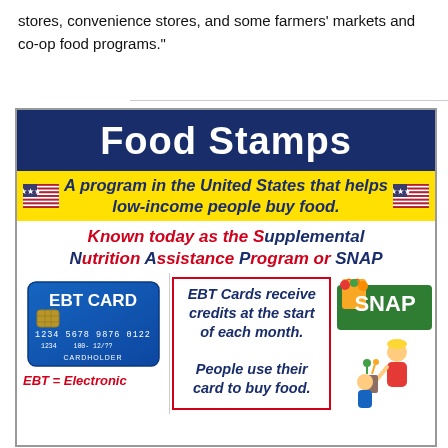stores, convenience stores, and some farmers' markets and co-op food programs."
[Figure (infographic): Food Stamps infographic: dark blue banner with 'Food Stamps' title; yellow bar with US flags and italic bold text 'A program in the United States that helps low-income people buy food.'; red/blue italic text 'Known today as the Supplemental Nutrition Assistance Program or SNAP'; bottom row with EBT card image, a red-bordered box with text about EBT cards receiving credits, and SNAP logo with cartoon family.]
EBT = Electronic